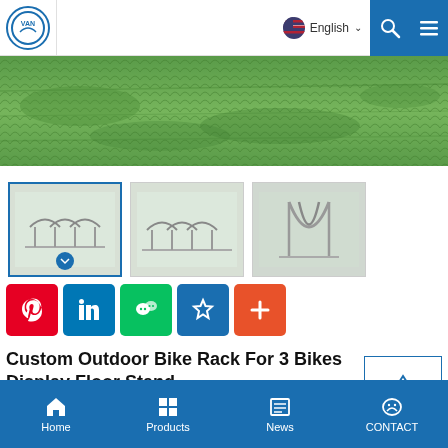VAN | English
[Figure (photo): Green grass texture/background image, top portion of a product page banner]
[Figure (photo): Three thumbnail images of a bike rack product: first thumbnail active with blue border, second and third show different angles of the floor stand bike rack]
[Figure (infographic): Social sharing buttons row: Pinterest (red), LinkedIn (blue), WeChat (green), Favorites star (blue), Plus/More (orange-red)]
Custom Outdoor Bike Rack For 3 Bikes Display Floor Stand
Model NO.:PV-0031-01
Surface:Hot Dipped Galvanized
Home  Products  News  CONTACT